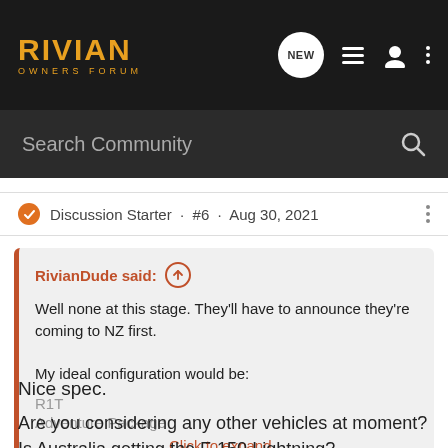RIVIAN OWNERS FORUM
Search Community
Discussion Starter · #6 · Aug 30, 2021
RivianDude said: ↑
Well none at this stage. They'll have to announce they're coming to NZ first.

My ideal configuration would be:

R1T
Adventure Package

Click to expand...
Nice spec.
Are you considering any other vehicles at moment?
Is Australia getting the F-150 Lightning?